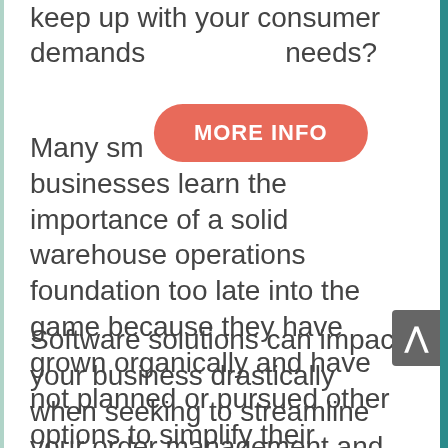keep up with your consumer demands and business needs?
[Figure (other): Red/salmon rounded rectangle button with white bold text reading MORE INFO]
Many small businesses learn the importance of a solid warehouse operations foundation too late into the game because they have grown organically and have not planned or pursued other options to simplify their processes and grow with better efficiencies.
Software solutions can impact your business drastically when seeking to streamline your order management and warehouse management needs — so that you can continue to grow your business with little to no